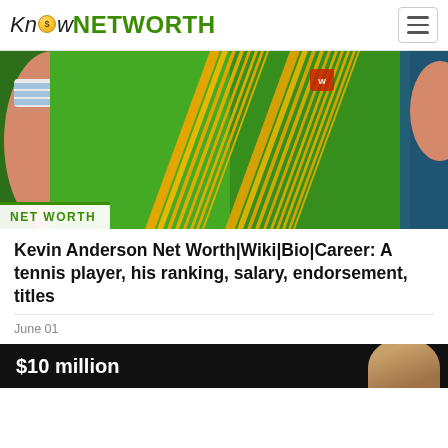Know NETWORTH
[Figure (photo): Close-up photo of a tennis player wearing a green jersey with yellow/orange diagonal stripe pattern]
NET WORTH
Kevin Anderson Net Worth|Wiki|Bio|Career: A tennis player, his ranking, salary, endorsement, titles
June 01
$10 million